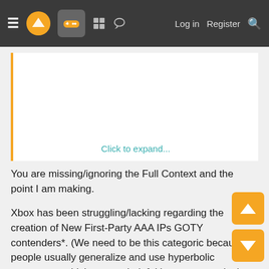≡ [logo] [gamepad icon] [grid icon] [chat icon]   Log in   Register   🔍
[Figure (screenshot): Quoted post block with orange left border, faded content, and a 'Click to expand...' teal link at the bottom]
You are missing/ignoring the Full Context and the point I am making.
Xbox has been struggling/lacking regarding the creation of New First-Party AAA IPs GOTY contenders*. (We need to be this categoric because people usually generalize and use hyperbolic statements which are not helpful in a conversation).
2. If you just plays games...You don't need to care about who created the IPs. BUT 'we' (this forum) is an enthusiast gaming forum, we talk about what engine is used, we talk about NPDs, performance numbers, lawsuits, tech etcetera.